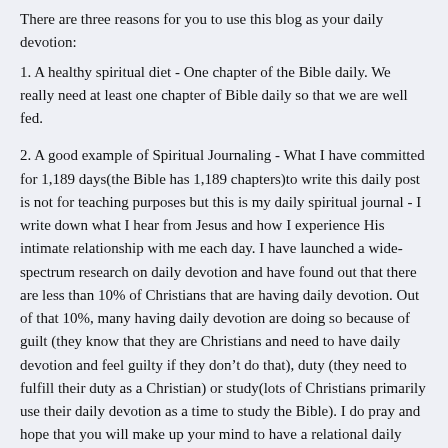There are three reasons for you to use this blog as your daily devotion:
1. A healthy spiritual diet - One chapter of the Bible daily. We really need at least one chapter of Bible daily so that we are well fed.
2. A good example of Spiritual Journaling - What I have committed for 1,189 days(the Bible has 1,189 chapters)to write this daily post is not for teaching purposes but this is my daily spiritual journal - I write down what I hear from Jesus and how I experience His intimate relationship with me each day. I have launched a wide-spectrum research on daily devotion and have found out that there are less than 10% of Christians that are having daily devotion. Out of that 10%, many having daily devotion are doing so because of guilt (they know that they are Christians and need to have daily devotion and feel guilty if they don't do that), duty (they need to fulfill their duty as a Christian) or study(lots of Christians primarily use their daily devotion as a time to study the Bible). I do pray and hope that you will make up your mind to have a relational daily devotion so that you can have an intimate time with Jesus. I pray that you will write your own spiritual journal as well.
3. An online discipler – One of the reasons that so many Christians do not have daily devotion is because they do not have a disciple. A discipler can help them